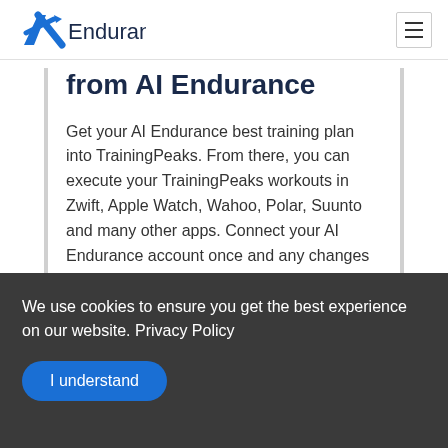[Figure (logo): AI Endurance logo with blue stylized A and checkmark, text 'AI Endurance']
from AI Endurance
Get your AI Endurance best training plan into TrainingPeaks. From there, you can execute your TrainingPeaks workouts in Zwift, Apple Watch, Wahoo, Polar, Suunto and many other apps. Connect your AI Endurance account once and any changes will automatically be
We use cookies to ensure you get the best experience on our website. Privacy Policy
I understand